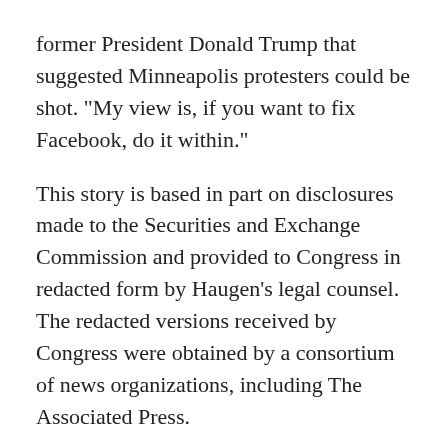former President Donald Trump that suggested Minneapolis protesters could be shot. "My view is, if you want to fix Facebook, do it within."
This story is based in part on disclosures made to the Securities and Exchange Commission and provided to Congress in redacted form by Haugen’s legal counsel. The redacted versions received by Congress were obtained by a consortium of news organizations, including The Associated Press.
They detail painstakingly collected data on problems as wide-ranging as the trafficking of domestic workers in the Middle East, an over-correction in crackdowns on Arabic content that critics say muzzles free speech while hate speech and abuse flourish, and rampant anti-vaccine misinformation that researchers found